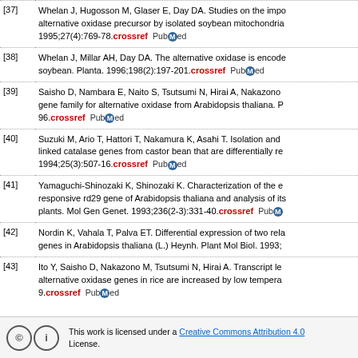[37] Whelan J, Hugosson M, Glaser E, Day DA. Studies on the import of alternative oxidase precursor by isolated soybean mitochondria. 1995;27(4):769-78.
[38] Whelan J, Millar AH, Day DA. The alternative oxidase is encoded in the soybean. Planta. 1996;198(2):197-201.
[39] Saisho D, Nambara E, Naito S, Tsutsumi N, Hirai A, Nakazono ... gene family for alternative oxidase from Arabidopsis thaliana. P... 96.
[40] Suzuki M, Ario T, Hattori T, Nakamura K, Asahi T. Isolation and ... linked catalase genes from castor bean that are differentially re... 1994;25(3):507-16.
[41] Yamaguchi-Shinozaki K, Shinozaki K. Characterization of the e... responsive rd29 gene of Arabidopsis thaliana and analysis of its... plants. Mol Gen Genet. 1993;236(2-3):331-40.
[42] Nordin K, Vahala T, Palva ET. Differential expression of two rela... genes in Arabidopsis thaliana (L.) Heynh. Plant Mol Biol. 1993;...
[43] Ito Y, Saisho D, Nakazono M, Tsutsumi N, Hirai A. Transcript le... alternative oxidase genes in rice are increased by low tempera... 9.
This work is licensed under a Creative Commons Attribution 4.0 License.